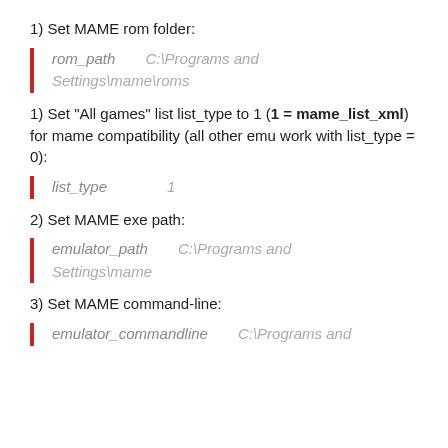1) Set MAME rom folder:
rom_path    C:\Programs and Settings\mame\roms
1) Set "All games" list list_type to 1 (1 = mame_list_xml) for mame compatibility (all other emu work with list_type = 0):
list_type    1
2) Set MAME exe path:
emulator_path    C:\Programs and Settings\mame
3) Set MAME command-line:
emulator_commandline    C:\Programs and Settings